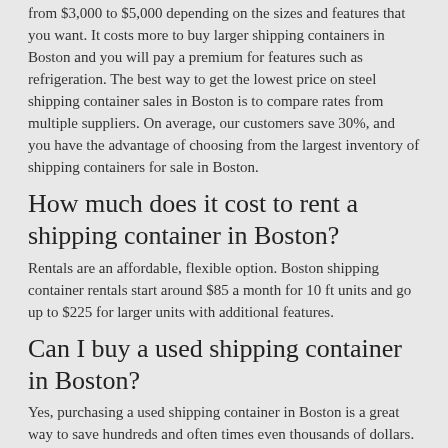from $3,000 to $5,000 depending on the sizes and features that you want. It costs more to buy larger shipping containers in Boston and you will pay a premium for features such as refrigeration. The best way to get the lowest price on steel shipping container sales in Boston is to compare rates from multiple suppliers. On average, our customers save 30%, and you have the advantage of choosing from the largest inventory of shipping containers for sale in Boston.
How much does it cost to rent a shipping container in Boston?
Rentals are an affordable, flexible option. Boston shipping container rentals start around $85 a month for 10 ft units and go up to $225 for larger units with additional features.
Can I buy a used shipping container in Boston?
Yes, purchasing a used shipping container in Boston is a great way to save hundreds and often times even thousands of dollars. When buying a pre-owned shipping container it's important to choose a reliable supplier as well as inspect the container to ensure that it's in good condition.